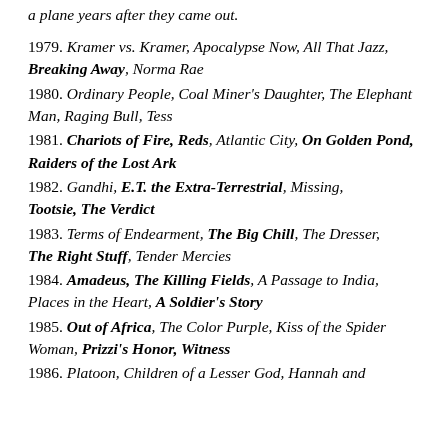a plane years after they came out.
1979. Kramer vs. Kramer, Apocalypse Now, All That Jazz, Breaking Away, Norma Rae
1980. Ordinary People, Coal Miner's Daughter, The Elephant Man, Raging Bull, Tess
1981. Chariots of Fire, Reds, Atlantic City, On Golden Pond, Raiders of the Lost Ark
1982. Gandhi, E.T. the Extra-Terrestrial, Missing, Tootsie, The Verdict
1983. Terms of Endearment, The Big Chill, The Dresser, The Right Stuff, Tender Mercies
1984. Amadeus, The Killing Fields, A Passage to India, Places in the Heart, A Soldier's Story
1985. Out of Africa, The Color Purple, Kiss of the Spider Woman, Prizzi's Honor, Witness
1986. Platoon, Children of a Lesser God, Hannah and